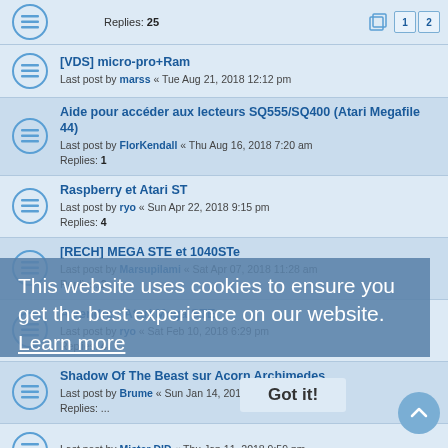Replies: 25
[VDS] micro-pro+Ram
Last post by marss « Tue Aug 21, 2018 12:12 pm
Aide pour accéder aux lecteurs SQ555/SQ400 (Atari Megafile 44)
Last post by FlorKendall « Thu Aug 16, 2018 7:20 am
Replies: 1
Raspberry et Atari ST
Last post by ryo « Sun Apr 22, 2018 9:15 pm
Replies: 4
[RECH] MEGA STE et 1040STe
Last post by Marsupilami « Sat Apr 07, 2018 11:28 am
Replies: 2
A vendre : Atari Mega STE
Last post by ryo « Sat Feb 10, 2018 6:29 pm
Replies: 4
Shadow Of The Beast sur Acorn Archimedes
Last post by Brume « Sun Jan 14, 2018 8:59 am
Replies: ...
Last post by Mister DID « Thu Jan 11, 2018 9:59 pm
Vend atari 1040 stf + sc 1224 + manette+souris + jeux
Last post by xusas « Tue Jan 02, 2018 8:06 pm
Replies: 1
Joyeux Noël !!!!!!!!!!!!!!!!!!!!!
Last post by Mister DID « Fri Dec 29, 2017 7:37 am
This website uses cookies to ensure you get the best experience on our website. Learn more